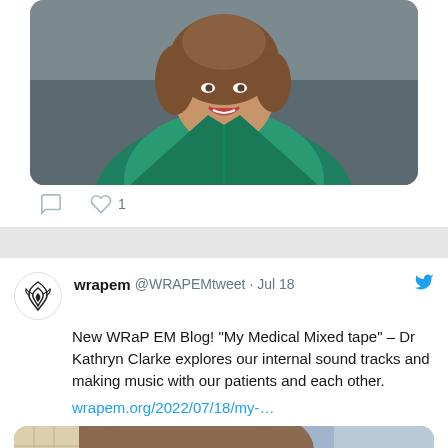[Figure (photo): Portrait photo of a woman with short brown hair wearing a green jacket, smiling, against a dark studio background. Below the photo are social media action icons: a comment bubble and a heart icon with '1' like.]
wrapem @WRAPEMtweet · Jul 18
New WRaP EM Blog! "My Medical Mixed tape" – Dr Kathryn Clarke explores our internal sound tracks and making music with our patients and each other.
wrapem.org/2022/07/18/my-…
[Figure (photo): Close-up portrait photo of a woman with short hair, looking directly at camera, with a blurred background.]